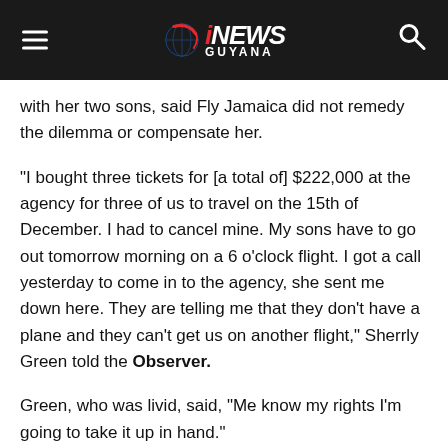[Figure (logo): iNews Guyana website header with hamburger menu on left, iNews Guyana logo in center, and search icon on right, on dark background]
with her two sons, said Fly Jamaica did not remedy the dilemma or compensate her.
“I bought three tickets for [a total of] $222,000 at the agency for three of us to travel on the 15th of December. I had to cancel mine. My sons have to go out tomorrow morning on a 6 o’clock flight. I got a call yesterday to come in to the agency, she sent me down here. They are telling me that they don’t have a plane and they can’t get us on another flight,” Sherrly Green told the Observer.
Green, who was livid, said, “Me know my rights I’m going to take it up in hand.”
Unlike Green and Bryan, Rachael Wilson’s husband, who is